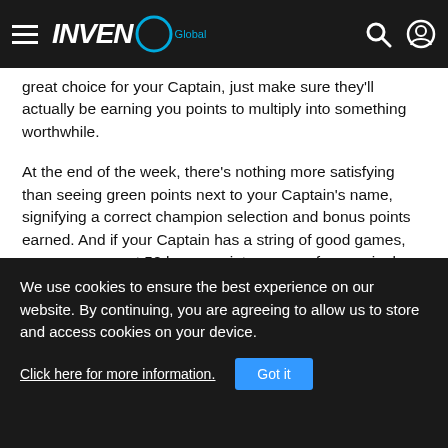INVEN Global
great choice for your Captain, just make sure they'll actually be earning you points to multiply into something worthwhile.
At the end of the week, there's nothing more satisfying than seeing green points next to your Captain's name, signifying a correct champion selection and bonus points earned. And if your Captain has a string of good games, you can even get 50 bonus points or more from a single player. Make sure to utilize the Captain feature as best you can, and pass up your friends on the leaderboard and shoot for those sweet E1 Fantasy prizes.
We use cookies to ensure the best experience on our website. By continuing, you are agreeing to allow us to store and access cookies on your device.
Click here for more information.